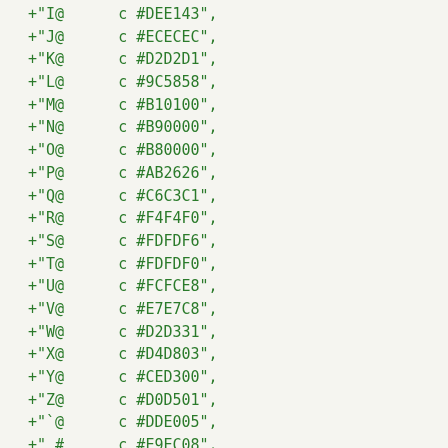+"I@		c #DEE143",
+"J@		c #ECECEC",
+"K@		c #D2D2D1",
+"L@		c #9C5858",
+"M@		c #B10100",
+"N@		c #B90000",
+"O@		c #B80000",
+"P@		c #AB2626",
+"Q@		c #C6C3C1",
+"R@		c #F4F4F0",
+"S@		c #FDFDF6",
+"T@		c #FDFDF0",
+"U@		c #FCFCE8",
+"V@		c #E7E7C8",
+"W@		c #D2D331",
+"X@		c #D4D803",
+"Y@		c #CED300",
+"Z@		c #D0D501",
+"`@		c #DDE005",
+" #		c #E9EC08",
+".#		c #EFF108",
+"+#		c #EDEF07",